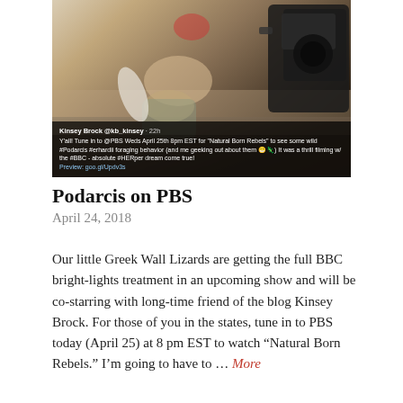[Figure (photo): A person crouching on a sandy/rocky surface with a large BBC camera rig visible on the right. There is a tweet overlay at the bottom from Kinsey Brock (@kb_kinsey) reading: Y'all! Tune in to @PBS Weds April 25th 8pm EST for 'Natural Born Rebels' to see some wild #Podarcis #erhardii foraging behavior (and me geeking out about them) It was a thrill filming w/ the #BBC - absolute #HERper dream come true! Preview: goo.gl/Updv3s]
Podarcis on PBS
April 24, 2018
Our little Greek Wall Lizards are getting the full BBC bright-lights treatment in an upcoming show and will be co-starring with long-time friend of the blog Kinsey Brock. For those of you in the states, tune in to PBS today (April 25) at 8pm EST to watch “Natural Born Rebels.” I’m going to have to … More